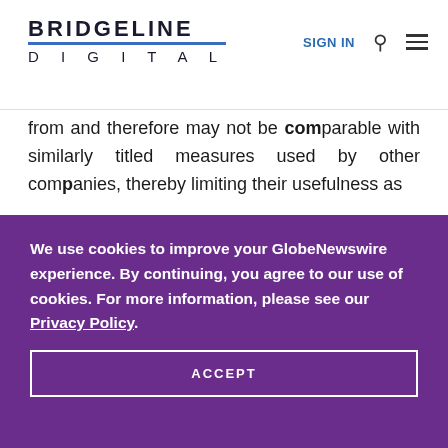BRIDGELINE DIGITAL | SIGN IN
from and therefore may not be comparable with similarly titled measures used by other companies, thereby limiting their usefulness as
We use cookies to improve your GlobeNewswire experience. By continuing, you agree to our use of cookies. For more information, please see our Privacy Policy.
ACCEPT